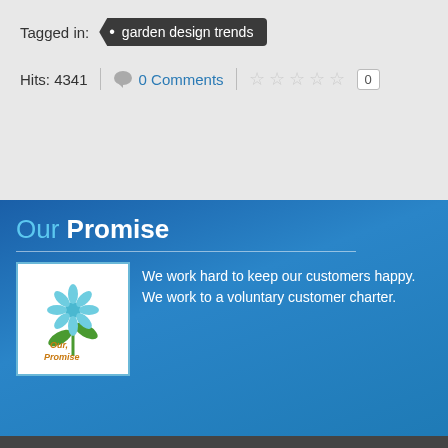Tagged in:  • garden design trends
Hits: 4341   0 Comments   ☆☆☆☆☆  0
Our Promise
[Figure (illustration): Flower and plant illustration with text 'Our Promise' in orange handwriting]
We work hard to keep our customers happy.  We work to a voluntary customer charter.
Peace of M[ind]
[Figure (logo): Circular stamp logo reading 'Insured via Simply Business' with red footprint icons]
Garden Design i[nsured via] Gardening detai[ls on our] services page.